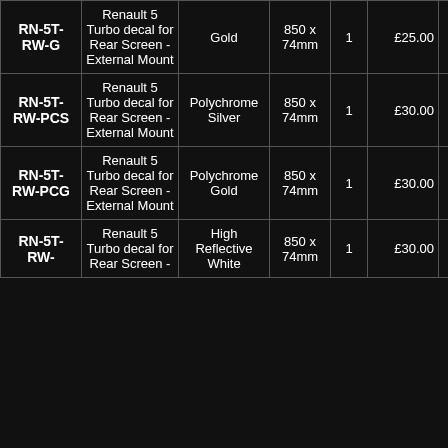| SKU | Description | Colour | Size | Qty | Price |  |
| --- | --- | --- | --- | --- | --- | --- |
| RN-5T-RW-G | Renault 5 Turbo decal for Rear Screen - External Mount | Gold | 850 x 74mm | 1 | £25.00 | BUY NOW |
| RN-5T-RW-PCS | Renault 5 Turbo decal for Rear Screen - External Mount | Polychrome Silver | 850 x 74mm | 1 | £30.00 | BUY NOW |
| RN-5T-RW-PCG | Renault 5 Turbo decal for Rear Screen - External Mount | Polychrome Gold | 850 x 74mm | 1 | £30.00 | BUY NOW |
| RN-5T-RW- | Renault 5 Turbo decal for Rear Screen - | High Reflective White | 850 x 74mm | 1 | £30.00 | BUY NOW |